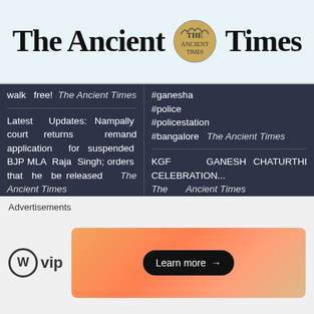The Ancient Times
walk free! The Ancient Times
Latest Updates: Nampally court returns remand application for suspended BJP MLA Raja Singh; orders that he be released The Ancient Times
Afghan Spiritual ...
#ganesha #police #policestation #bangalore The Ancient Times
KGF GANESH CHATURTHI CELEBRATION... The Ancient Times
Eidgah Maidan Issue main ...
Advertisements
[Figure (logo): WordPress VIP logo and advertisement banner with Learn more button]